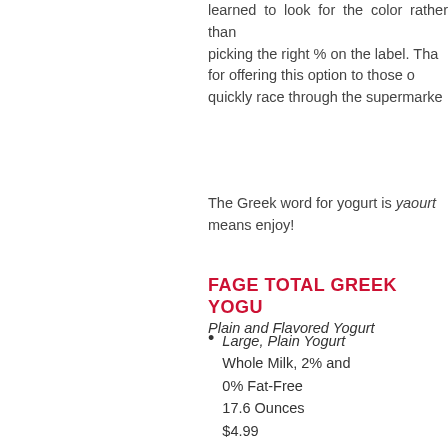learned to look for the color rather than picking the right % on the label. Thanks for offering this option to those of us who quickly race through the supermarket.
The Greek word for yogurt is yaourt, which means enjoy!
FAGE TOTAL GREEK YOGURT
Plain and Flavored Yogurt
Large, Plain Yogurt
Whole Milk, 2% and
0% Fat-Free
17.6 Ounces
$4.99
Plain Yogurt Cup
6 Ounces
$1.99
Flavored Yogurt Cup
2% & Whole Milk (Cherry, Strawberry, Honey)
5.3 Ounces